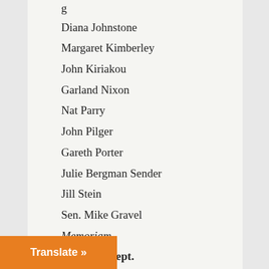Diana Johnstone
Margaret Kimberley
John Kiriakou
Garland Nixon
Nat Parry
John Pilger
Gareth Porter
Julie Bergman Sender
Jill Stein
Sen. Mike Gravel
Memoriam
Editorial Dept.
Joe Lauria
Editor-in-Chief
Corinna Barnard
Deputy Editor
Administration
g
irector